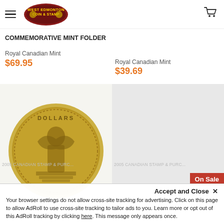West Edmonton Coin & Stamp [logo] [hamburger menu] [cart icon]
COMMEMORATIVE MINT FOLDER
Royal Canadian Mint
$69.95
Royal Canadian Mint
$39.69
[Figure (photo): Gold commemorative coin showing a robed figure, text reading DOLLARS visible at top]
[Figure (photo): An open wooden display box containing a commemorative coin set with colorful nature-themed background featuring mushrooms/wildlife, with an On Sale badge in top right]
Accept and Close ×
Your browser settings do not allow cross-site tracking for advertising. Click on this page to allow AdRoll to use cross-site tracking to tailor ads to you. Learn more or opt out of this AdRoll tracking by clicking here. This message only appears once.
2005 CANADIAN STAMP & PURC...
2005 CANADIAN STAMP & PURC...